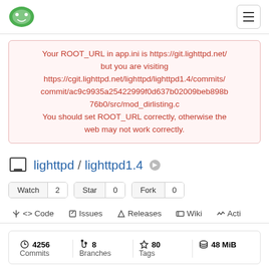Gitea navigation bar with logo and hamburger menu
Your ROOT_URL in app.ini is https://git.lighttpd.net/ but you are visiting https://cgit.lighttpd.net/lighttpd/lighttpd1.4/commits/commit/ac9c9935a25422999f0d637b02009beb898b76b0/src/mod_dirlisting.c You should set ROOT_URL correctly, otherwise the web may not work correctly.
lighttpd / lighttpd1.4
Watch 2  Star 0  Fork 0
<> Code  Issues  Releases  Wiki  Acti
4256 Commits  8 Branches  80 Tags  48 MiB